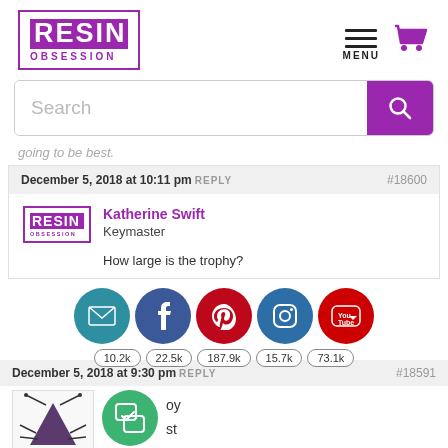[Figure (logo): Resin Obsession logo in purple box with RESIN in white on purple background and OBSESSION in purple text below]
[Figure (screenshot): Navigation menu icon (three horizontal lines) with MENU label and purple shopping cart icon]
[Figure (screenshot): Search bar with placeholder text Search and a purple search button with magnifying glass icon]
going to be best.
December 5, 2018 at 10:11 pm REPLY #18600
[Figure (logo): Small Resin Obsession logo used as commenter avatar]
Katherine Swift
Keymaster
How large is the trophy?
[Figure (infographic): Social share buttons row: email (dark teal), Facebook (blue), Pinterest (red), Instagram (dark blue/gradient), YouTube (red). Counts below: 10.2k, 22.5k, 187.9k, 15.7k, 73.1k]
December 5, 2018 at 9:30 pm REPLY #18591
[Figure (illustration): Stylized insect avatar illustration (dragonfly/bug in triangular purple shape with antennae)]
[Figure (infographic): Green circular chat/support badge icon]
oy
st